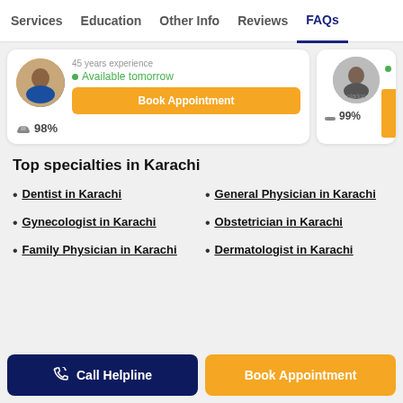Services | Education | Other Info | Reviews | FAQs
45 years experience
Available tomorrow
Book Appointment
98%
99%
Top specialties in Karachi
Dentist in Karachi
General Physician in Karachi
Gynecologist in Karachi
Obstetrician in Karachi
Family Physician in Karachi
Dermatologist in Karachi
Call Helpline | Book Appointment